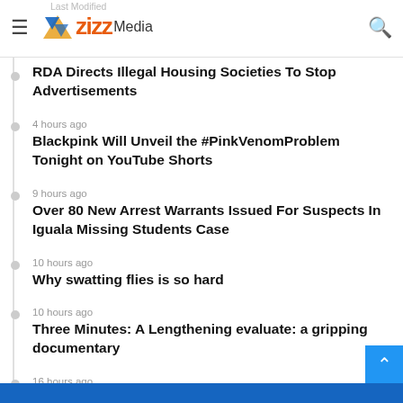zizz Media
Last Modified
RDA Directs Illegal Housing Societies To Stop Advertisements
4 hours ago — Blackpink Will Unveil the #PinkVenomProblem Tonight on YouTube Shorts
9 hours ago — Over 80 New Arrest Warrants Issued For Suspects In Iguala Missing Students Case
10 hours ago — Why swatting flies is so hard
10 hours ago — Three Minutes: A Lengthening evaluate: a gripping documentary
16 hours ago — NFTs Are The Future Of Business